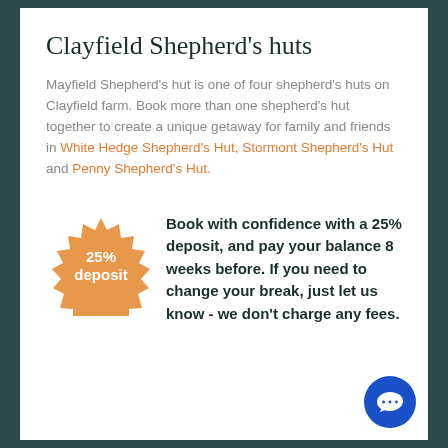Clayfield Shepherd's huts
Mayfield Shepherd's hut is one of four shepherd's huts on Clayfield farm. Book more than one shepherd's hut together to create a unique getaway for family and friends in White Hedge Shepherd's Hut, Stormont Shepherd's Hut and Penny Shepherd's Hut.
[Figure (other): Orange starburst badge with '25% deposit' text]
Book with confidence with a 25% deposit, and pay your balance 8 weeks before. If you need to change your break, just let us know - we don't charge any fees.